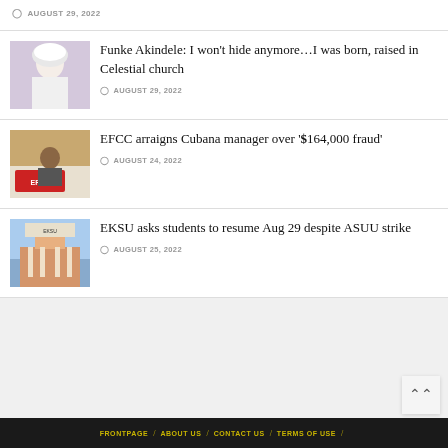AUGUST 29, 2022
[Figure (photo): Woman in white dress and head covering]
Funke Akindele: I won't hide anymore…I was born, raised in Celestial church
AUGUST 29, 2022
[Figure (photo): Man in front of EFCC sign]
EFCC arraigns Cubana manager over '$164,000 fraud'
AUGUST 24, 2022
[Figure (photo): University building exterior]
EKSU asks students to resume Aug 29 despite ASUU strike
AUGUST 25, 2022
FRONTPAGE / ABOUT US / CONTACT US / TERMS OF USE /